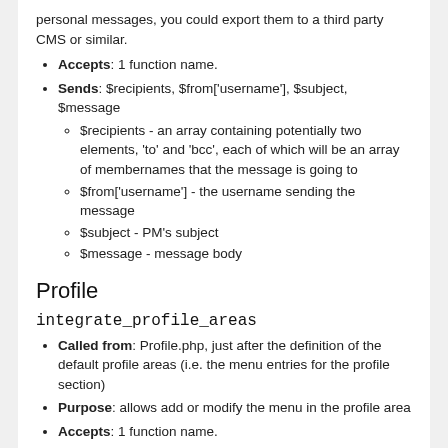personal messages, you could export them to a third party CMS or similar.
Accepts: 1 function name.
Sends: $recipients, $from['username'], $subject, $message
$recipients - an array containing potentially two elements, 'to' and 'bcc', each of which will be an array of membernames that the message is going to
$from['username'] - the username sending the message
$subject - PM's subject
$message - message body
Profile
integrate_profile_areas
Called from: Profile.php, just after the definition of the default profile areas (i.e. the menu entries for the profile section)
Purpose: allows add or modify the menu in the profile area
Accepts: 1 function name.
Sends: $profile_areas